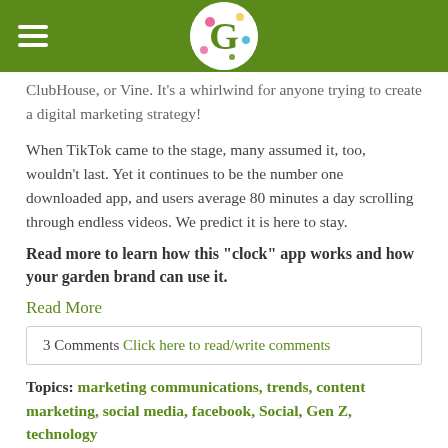G (logo/navigation bar)
ClubHouse, or Vine. It’s a whirlwind for anyone trying to create a digital marketing strategy!
When TikTok came to the stage, many assumed it, too, wouldn’t last. Yet it continues to be the number one downloaded app, and users average 80 minutes a day scrolling through endless videos. We predict it is here to stay.
Read more to learn how this “clock” app works and how your garden brand can use it.
Read More
3 Comments Click here to read/write comments
Topics: marketing communications, trends, content marketing, social media, facebook, Social, Gen Z, technology